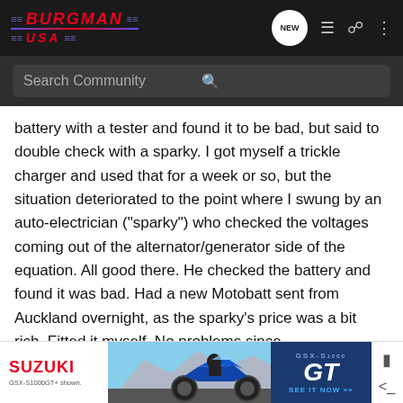[Figure (screenshot): Burgman USA forum website header with logo, navigation icons, and search bar]
battery with a tester and found it to be bad, but said to double check with a sparky. I got myself a trickle charger and used that for a week or so, but the situation deteriorated to the point where I swung by an auto-electrician ("sparky") who checked the voltages coming out of the alternator/generator side of the equation. All good there. He checked the battery and found it was bad. Had a new Motobatt sent from Auckland overnight, as the sparky's price was a bit rich. Fitted it myself. No problems since.
Get a new battery.
[Figure (screenshot): Suzuki GSX-S1000 GT advertisement banner at bottom of page]